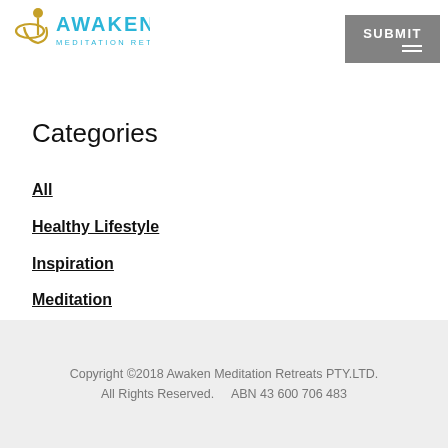Awaken Meditation Retreats — SUBMIT
Categories
All
Healthy Lifestyle
Inspiration
Meditation
Retreats
Yoga
Copyright ©2018 Awaken Meditation Retreats PTY.LTD. All Rights Reserved. ABN 43 600 706 483